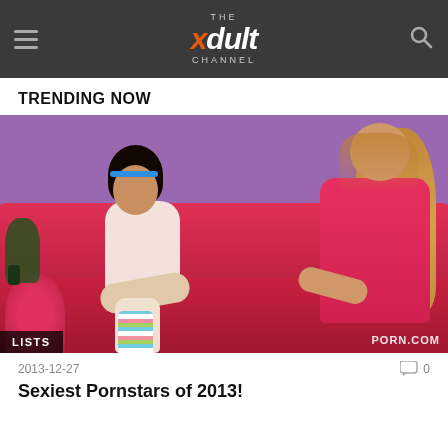THE xdult CHANNEL
TRENDING NOW
[Figure (photo): Two women sitting on a red couch against a purple wall. One has dark hair and wears white, the other has blonde/red hair and wears pink. A LISTS badge is in the bottom left, and PORN.COM watermark in the bottom right.]
2013-12-27
0
Sexiest Pornstars of 2013!